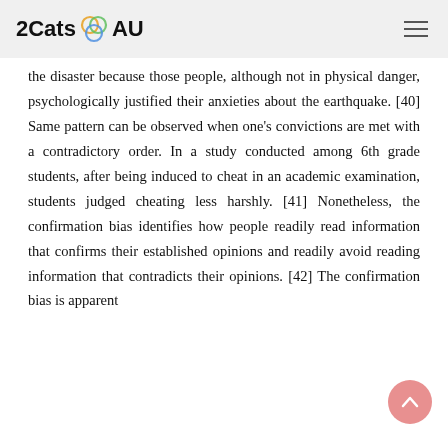2Cats AU
the disaster because those people, although not in physical danger, psychologically justified their anxieties about the earthquake. [40] Same pattern can be observed when one's convictions are met with a contradictory order. In a study conducted among 6th grade students, after being induced to cheat in an academic examination, students judged cheating less harshly. [41] Nonetheless, the confirmation bias identifies how people readily read information that confirms their established opinions and readily avoid reading information that contradicts their opinions. [42] The confirmation bias is apparent